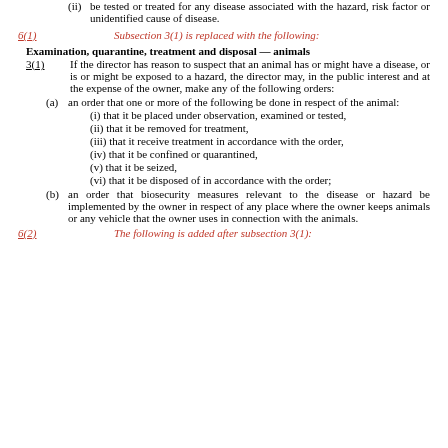(ii) be tested or treated for any disease associated with the hazard, risk factor or unidentified cause of disease.
6(1)      Subsection 3(1) is replaced with the following:
Examination, quarantine, treatment and disposal — animals
3(1)      If the director has reason to suspect that an animal has or might have a disease, or is or might be exposed to a hazard, the director may, in the public interest and at the expense of the owner, make any of the following orders:
(a) an order that one or more of the following be done in respect of the animal:
(i) that it be placed under observation, examined or tested,
(ii) that it be removed for treatment,
(iii) that it receive treatment in accordance with the order,
(iv) that it be confined or quarantined,
(v) that it be seized,
(vi) that it be disposed of in accordance with the order;
(b) an order that biosecurity measures relevant to the disease or hazard be implemented by the owner in respect of any place where the owner keeps animals or any vehicle that the owner uses in connection with the animals.
6(2)      The following is added after subsection 3(1):